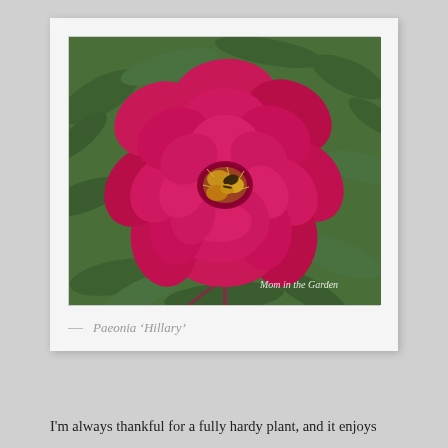[Figure (photo): A bright magenta/deep pink peony flower (Paeonia 'Hillary') in full bloom with multiple layered petals and golden stamens visible at center, surrounded by green leafy foliage. A bumblebee is visible among the stamens. Watermark reads 'Mom in the Garden' in the lower right.]
— Paeonia ‘Hillary’
I'm always thankful for a fully hardy plant, and it enjoys